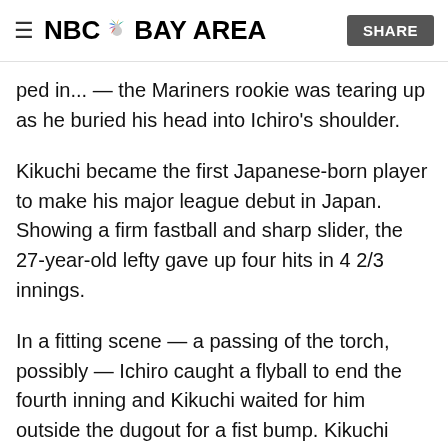NBC BAY AREA  SHARE
ped in... — the Mariners rookie was tearing up as he buried his head into Ichiro's shoulder.
Kikuchi became the first Japanese-born player to make his major league debut in Japan. Showing a firm fastball and sharp slider, the 27-year-old lefty gave up four hits in 4 2/3 innings.
In a fitting scene — a passing of the torch, possibly — Ichiro caught a flyball to end the fourth inning and Kikuchi waited for him outside the dugout for a fist bump. Kikuchi could be the next big star from Japan, having signed a contact in January that could be worth $109 million over seven years.
Kikuchi, who went to the same high school as Los Angeles